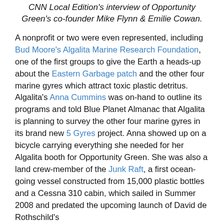CNN Local Edition's interview of Opportunity Green's co-founder Mike Flynn & Emilie Cowan.
A nonprofit or two were even represented, including Bud Moore's Algalita Marine Research Foundation, one of the first groups to give the Earth a heads-up about the Eastern Garbage patch and the other four marine gyres which attract toxic plastic detritus. Algalita's Anna Cummins was on-hand to outline its programs and told Blue Planet Almanac that Algalita is planning to survey the other four marine gyres in its brand new 5 Gyres project. Anna showed up on a bicycle carrying everything she needed for her Algalita booth for Opportunity Green. She was also a land crew-member of the Junk Raft, a first ocean-going vessel constructed from 15,000 plastic bottles and a Cessna 310 cabin, which sailed in Summer 2008 and predated the upcoming launch of David de Rothschild's